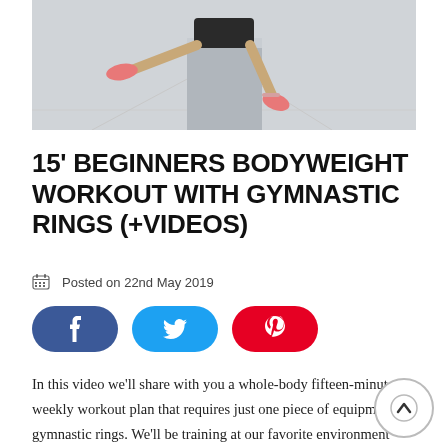[Figure (photo): Person sitting on a grey box outdoors, legs extended, wearing black shorts and pink sneakers, on a concrete surface with court lines visible.]
15' BEGINNERS BODYWEIGHT WORKOUT WITH GYMNASTIC RINGS (+VIDEOS)
Posted on 22nd May 2019
[Figure (infographic): Three social share buttons: Facebook (dark blue), Twitter (cyan), Pinterest (red)]
In this video we’ll share with you a whole-body fifteen-minute weekly workout plan that requires just one piece of equipment – gymnastic rings. We’ll be training at our favorite environment – the outdoors (recommend previous video “outdoor training benefits”) and for